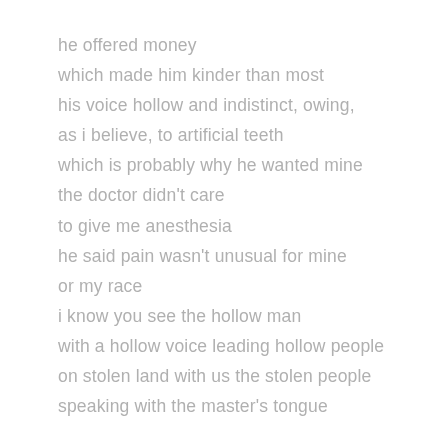he offered money
which made him kinder than most
his voice hollow and indistinct, owing,
as i believe, to artificial teeth
which is probably why he wanted mine
the doctor didn't care
to give me anesthesia
he said pain wasn't unusual for mine
or my race
i know you see the hollow man
with a hollow voice leading hollow people
on stolen land with us the stolen people
speaking with the master's tongue